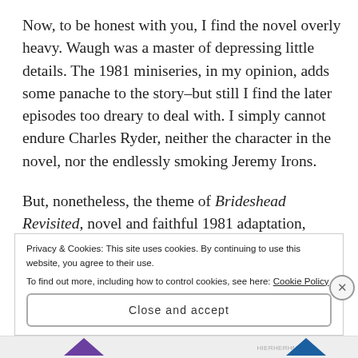Now, to be honest with you, I find the novel overly heavy. Waugh was a master of depressing little details. The 1981 miniseries, in my opinion, adds some panache to the story–but still I find the later episodes too dreary to deal with. I simply cannot endure Charles Ryder, neither the character in the novel, nor the endlessly smoking Jeremy Irons.

But, nonetheless, the theme of Brideshead Revisited, novel and faithful 1981 adaptation, shines majestic and unmistakable: the ancient faith conquers. It
Privacy & Cookies: This site uses cookies. By continuing to use this website, you agree to their use.
To find out more, including how to control cookies, see here: Cookie Policy
Close and accept